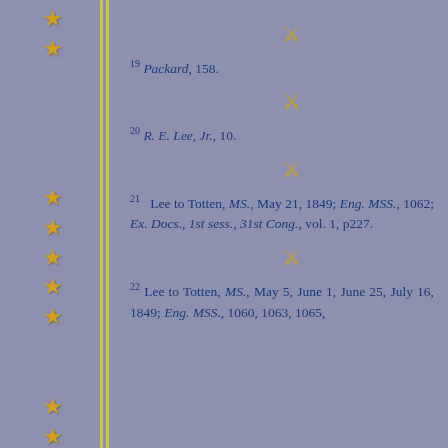19 Packard, 158.
20 R. E. Lee, Jr., 10.
21 Lee to Totten, MS., May 21, 1849; Eng. MSS., 1062; Ex. Docs., 1st sess., 31st Cong., vol. 1, p227.
22 Lee to Totten, MS., May 5, June 1, June 25, July 16, 1849; Eng. MSS., 1060, 1063, 1065,